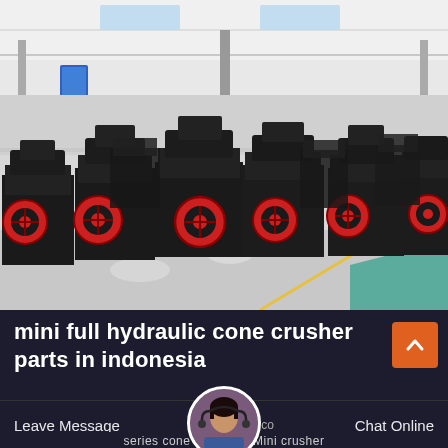[Figure (photo): Industrial warehouse/factory floor showing multiple large black cone crusher machines with red circular components (flywheels/pulleys). Machines are arranged in rows on a concrete floor inside a large metal-roofed facility. Background shows tall industrial ceiling with skylights and structural steel. Some teal/green flooring visible in lower right corner.]
mini full hydraulic cone crusher parts in indonesia
Leave Message
Chat Online
er H    aulic co    S